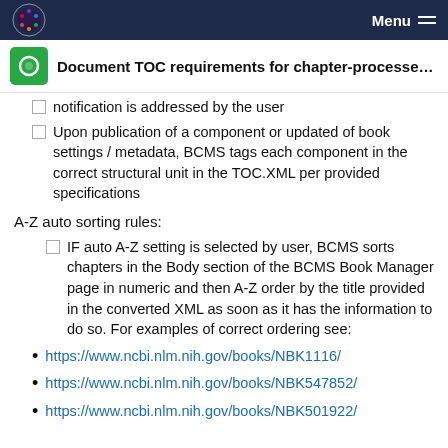Menu
Document TOC requirements for chapter-processed b...
notification is addressed by the user
Upon publication of a component or updated of book settings / metadata, BCMS tags each component in the correct structural unit in the TOC.XML per provided specifications
A-Z auto sorting rules:
IF auto A-Z setting is selected by user, BCMS sorts chapters in the Body section of the BCMS Book Manager page in numeric and then A-Z order by the title provided in the converted XML as soon as it has the information to do so. For examples of correct ordering see:
https://www.ncbi.nlm.nih.gov/books/NBK1116/
https://www.ncbi.nlm.nih.gov/books/NBK547852/
https://www.ncbi.nlm.nih.gov/books/NBK501922/